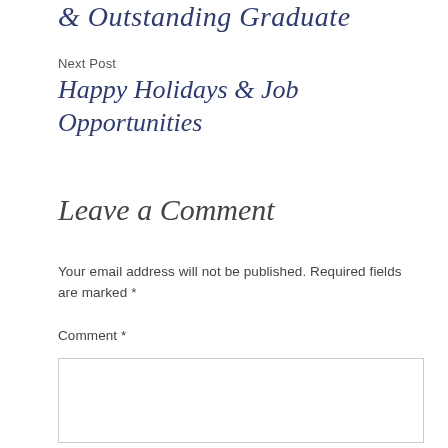& Outstanding Graduate
Next Post
Happy Holidays & Job Opportunities
Leave a Comment
Your email address will not be published. Required fields are marked *
Comment *